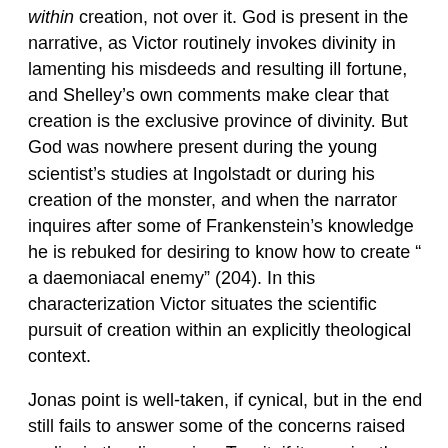within creation, not over it. God is present in the narrative, as Victor routinely invokes divinity in lamenting his misdeeds and resulting ill fortune, and Shelley’s own comments make clear that creation is the exclusive province of divinity. But God was nowhere present during the young scientist’s studies at Ingolstadt or during his creation of the monster, and when the narrator inquires after some of Frankenstein’s knowledge he is rebuked for desiring to know how to create “ a daemoniacal enemy” (204). In this characterization Victor situates the scientific pursuit of creation within an explicitly theological context.
Jonas point is well-taken, if cynical, but in the end still fails to answer some of the concerns raised earlier in the discussion. To wit, if it remains the perception in the public mind that technology is neutral, which seems a given for the time being, then fear – the “monster-ethicist” – will not arouse a reformulation of public policies toward